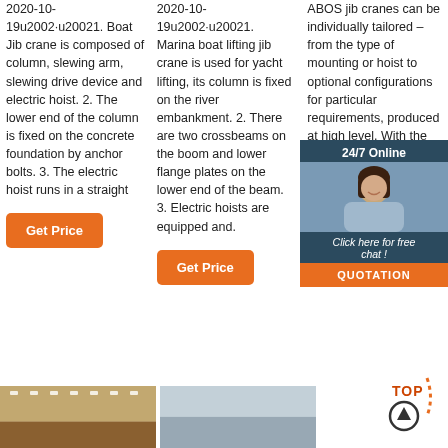2020-10-19u2002·u20021. Boat Jib crane is composed of column, slewing arm, slewing drive device and electric hoist. 2. The lower end of the column is fixed on the concrete foundation by anchor bolts. 3. The electric hoist runs in a straight
Get Price
2020-10-19u2002·u20021. Marina boat lifting jib crane is used for yacht lifting, its column is fixed on the river embankment. 2. There are two crossbeams on the boom and lower flange plates on the lower end of the beam. 3. Electric hoists are equipped and.
Get Price
ABOS jib cranes can be individually tailored – from the type of mounting or hoist to optional configurations for particular requirements, produced at high level. With the button, handle 6.3 tonn and effo whether their own pillars or on walls or columns.
Get Price
[Figure (screenshot): 24/7 Online chat overlay with customer service representative photo, 'Click here for free chat!' text, and QUOTATION button]
[Figure (photo): Bottom left image showing indoor sports hall or warehouse with wooden floor]
[Figure (photo): Bottom center image showing grey/industrial scene]